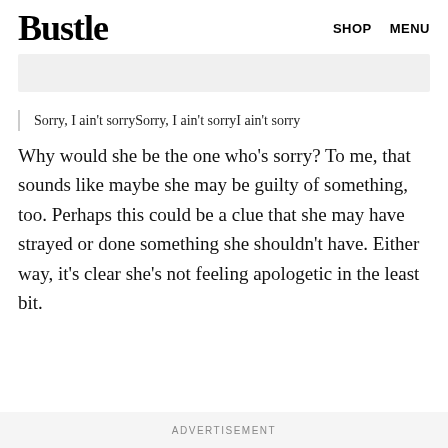Bustle   SHOP   MENU
Sorry, I ain't sorrySorry, I ain't sorryI ain't sorry
Why would she be the one who's sorry? To me, that sounds like maybe she may be guilty of something, too. Perhaps this could be a clue that she may have strayed or done something she shouldn't have. Either way, it's clear she's not feeling apologetic in the least bit.
ADVERTISEMENT